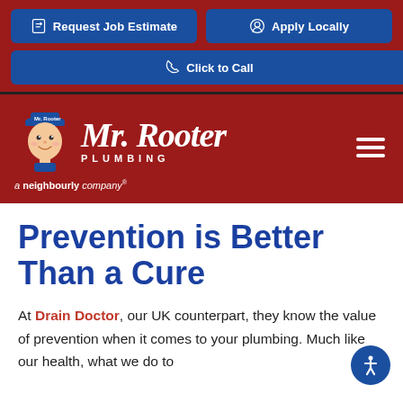Request Job Estimate | Apply Locally | Click to Call
[Figure (logo): Mr. Rooter Plumbing logo with mascot character, red background, hamburger menu icon]
Prevention is Better Than a Cure
At Drain Doctor, our UK counterpart, they know the value of prevention when it comes to your plumbing. Much like our health, what we do to